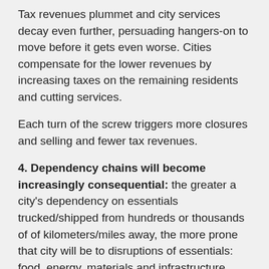Tax revenues plummet and city services decay even further, persuading hangers-on to move before it gets even worse. Cities compensate for the lower revenues by increasing taxes on the remaining residents and cutting services.
Each turn of the screw triggers more closures and selling and fewer tax revenues.
4. Dependency chains will become increasingly consequential: the greater a city's dependency on essentials trucked/shipped from hundreds or thousands of of kilometers/miles away, the more prone that city will be to disruptions of essentials: food, energy, materials and infrastructure.
Though few are willing to dwell on such vulnerabilities,